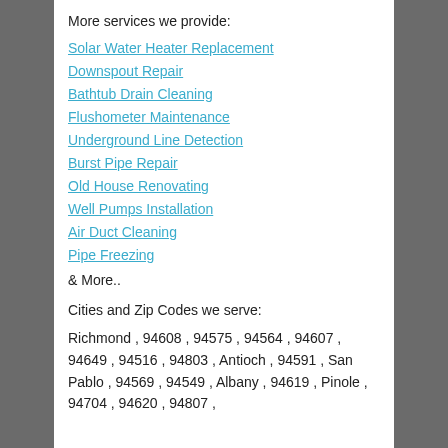More services we provide:
Solar Water Heater Replacement
Downspout Repair
Bathtub Drain Cleaning
Flushometer Maintenance
Underground Line Detection
Burst Pipe Repair
Old House Renovating
Well Pumps Installation
Air Duct Cleaning
Pipe Freezing
& More..
Cities and Zip Codes we serve:
Richmond , 94608 , 94575 , 94564 , 94607 , 94649 , 94516 , 94803 , Antioch , 94591 , San Pablo , 94569 , 94549 , Albany , 94619 , Pinole , 94704 , 94620 , 94807 ,